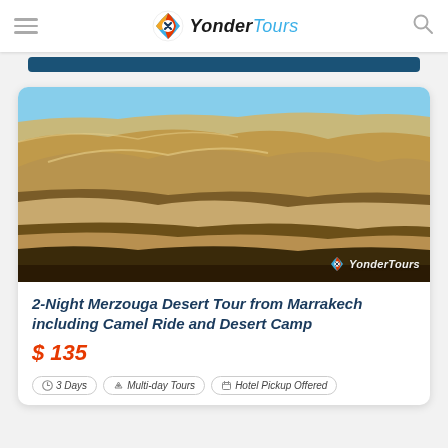YonderTours
[Figure (photo): Sand dunes in the Merzouga desert, Morocco. Sweeping tan/golden sand dunes with dramatic shadows under a clear blue sky. YonderTours watermark in lower right corner.]
2-Night Merzouga Desert Tour from Marrakech including Camel Ride and Desert Camp
$ 135
3 Days
Multi-day Tours
Hotel Pickup Offered